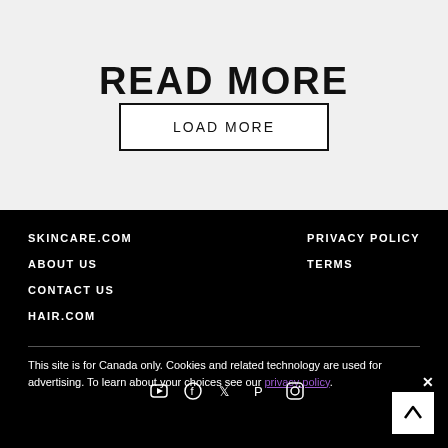READ MORE
LOAD MORE
SKINCARE.COM    PRIVACY POLICY
ABOUT US    TERMS
CONTACT US
HAIR.COM

This site is for Canada only. Cookies and related technology are used for advertising. To learn about your choices see our privacy policy.